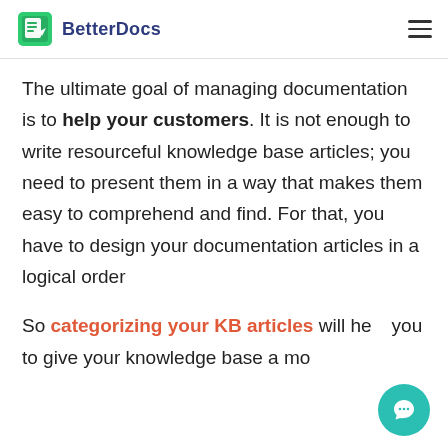BetterDocs
The ultimate goal of managing documentation is to help your customers. It is not enough to write resourceful knowledge base articles; you need to present them in a way that makes them easy to comprehend and find. For that, you have to design your documentation articles in a logical order
So categorizing your KB articles will help you to give your knowledge base a mo...